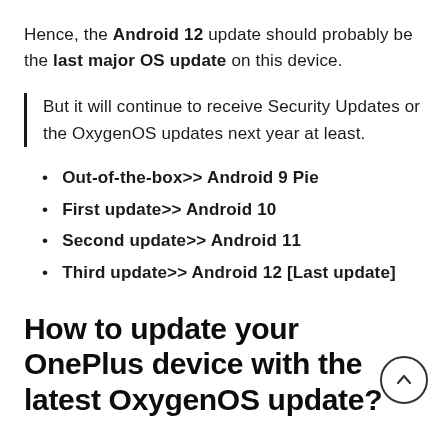Hence, the Android 12 update should probably be the last major OS update on this device.
But it will continue to receive Security Updates or the OxygenOS updates next year at least.
Out-of-the-box>> Android 9 Pie
First update>> Android 10
Second update>> Android 11
Third update>> Android 12 [Last update]
How to update your OnePlus device with the latest OxygenOS update?